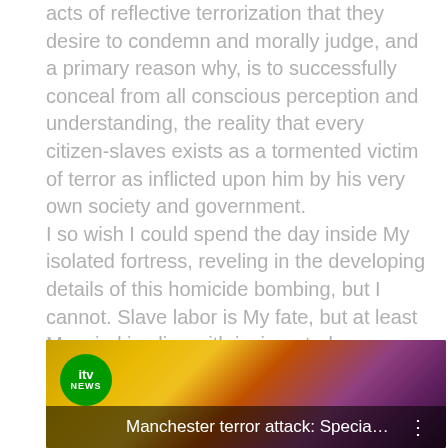acts of reflective terrorization that they desire to condemn and morally judge, and a primary reason why, is to successfully conceal from all conscious perception and understanding, the reality that every citizen-slaves exists as a tormented victim of terror as inflicted upon him by his very own society and government. I so wish I could spend the day inside My isolated fortress, reveling in the developing details of this homicide bombing, but I cannot. Slave labor is My fate, but at least My mind is alive with invigorated consciousness, on this particular morning.

For now, you can follow ITV live coverage of this act of reflective revenge via this Youtube livestream:
[Figure (screenshot): YouTube livestream screenshot showing ITV News coverage titled 'Manchester terror attack: Special l...' with ITV News logo badge on green circle, colorful background visible.]